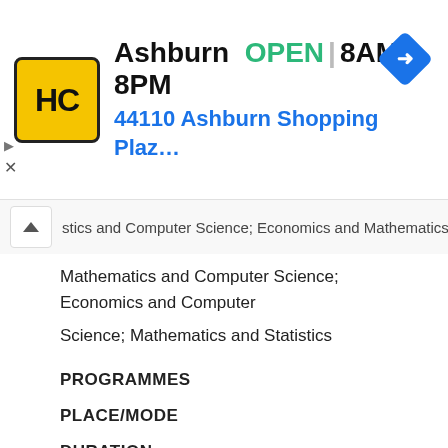[Figure (other): Advertisement banner for Hairclub (HC) at Ashburn location. Yellow/black logo with HC, text showing OPEN 8AM-8PM and address 44110 Ashburn Shopping Plaz..., blue navigation icon on right. Close button (triangle and X) on far left.]
stics and Computer Science; Economics and Mathematics;
Mathematics and Computer Science; Economics and Computer

Science; Mathematics and Statistics
PROGRAMMES
PLACE/MODE
DURATION
TUITION PER SEMESTER
NATIONAL
INTERNATIONAL
UCY